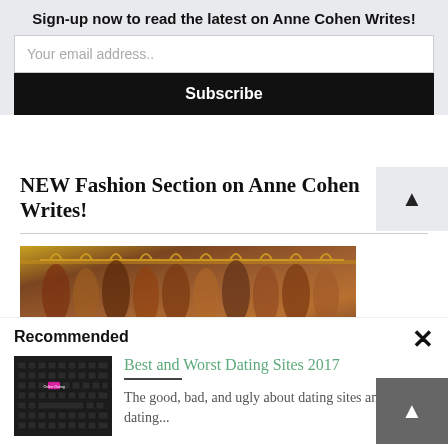Sign-up now to read the latest on Anne Cohen Writes!
Your email address..
Subscribe
NEW Fashion Section on Anne Cohen Writes!
[Figure (photo): Close-up photo of clothing hangers with garments, warm brown/gold tones]
Recommended
[Figure (photo): Keyboard with a pink/magenta key labeled 'Online Dating']
Best and Worst Dating Sites 2017
The good, bad, and ugly about dating sites and dating...